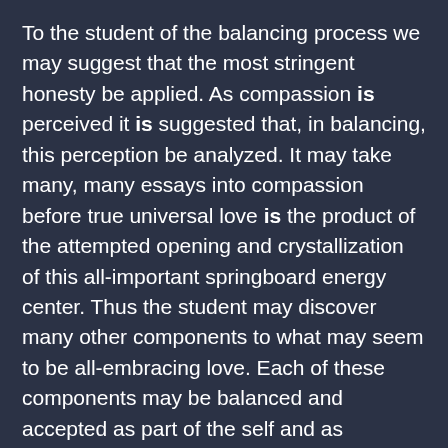To the student of the balancing process we may suggest that the most stringent honesty be applied. As compassion is perceived it is suggested that, in balancing, this perception be analyzed. It may take many, many essays into compassion before true universal love is the product of the attempted opening and crystallization of this all-important springboard energy center. Thus the student may discover many other components to what may seem to be all-embracing love. Each of these components may be balanced and accepted as part of the self and as transitional material as the entity's seat of learn/teaching moves ever more fairly into the green ray.
When it is perceived that universal love has been achieved the next balancing may or may not be wisdom. If the adept is balancing manifestations it is indeed appropriate to balance universal love and